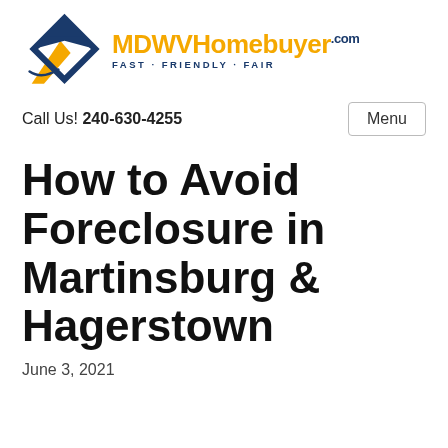[Figure (logo): MDWVHomebuyer.com logo with house icon and tagline FAST · FRIENDLY · FAIR]
Call Us! 240-630-4255
Menu
How to Avoid Foreclosure in Martinsburg & Hagerstown
June 3, 2021